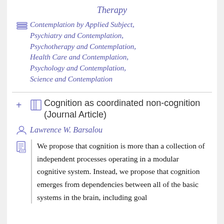Therapy
Contemplation by Applied Subject, Psychiatry and Contemplation, Psychotherapy and Contemplation, Health Care and Contemplation, Psychology and Contemplation, Science and Contemplation
Cognition as coordinated non-cognition (Journal Article)
Lawrence W. Barsalou
We propose that cognition is more than a collection of independent processes operating in a modular cognitive system. Instead, we propose that cognition emerges from dependencies between all of the basic systems in the brain, including goal